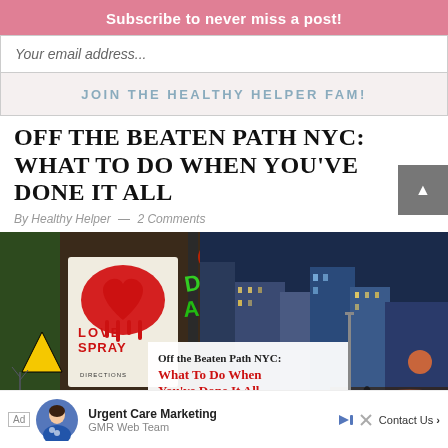Subscribe to never miss a post!
Your email address...
JOIN THE HEALTHY HELPER FAM!
OFF THE BEATEN PATH NYC: WHAT TO DO WHEN YOU'VE DONE IT ALL
By Healthy Helper — 2 Comments
[Figure (photo): Collage photo of NYC street art (Love Spray graffiti/sticker) on left and NYC skyline/Times Square at night on right, with a white overlay card showing article title text 'Off the Beaten Path NYC: What To Do When You've Done It All']
Ad  Urgent Care Marketing  GMR Web Team  Contact Us >